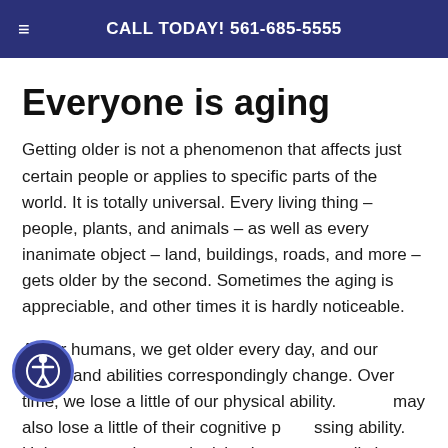CALL TODAY! 561-685-5555
Everyone is aging
Getting older is not a phenomenon that affects just certain people or applies to specific parts of the world. It is totally universal. Every living thing – people, plants, and animals – as well as every inanimate object – land, buildings, roads, and more – gets older by the second. Sometimes the aging is appreciable, and other times it is hardly noticeable.
As for humans, we get older every day, and our needs and abilities correspondingly change. Over time, we lose a little of our physical ability. [People] may also lose a little of their cognitive processing ability. Unless we work to replenish what we normally lose, our muscle strength,